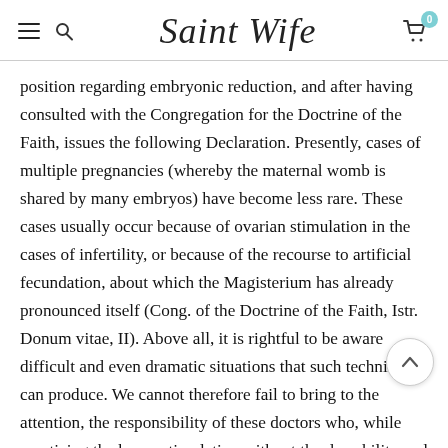Saint Wife
position regarding embryonic reduction, and after having consulted with the Congregation for the Doctrine of the Faith, issues the following Declaration. Presently, cases of multiple pregnancies (whereby the maternal womb is shared by many embryos) have become less rare. These cases usually occur because of ovarian stimulation in the cases of infertility, or because of the recourse to artificial fecundation, about which the Magisterium has already pronounced itself (Cong. of the Doctrine of the Faith, Istr. Donum vitae, II). Above all, it is rightful to be aware difficult and even dramatic situations that such techniques can produce. We cannot therefore fail to bring to the attention, the responsibility of these doctors who, while practicing the hyper stimulation without the due ability and precaution, or applying the techniques of